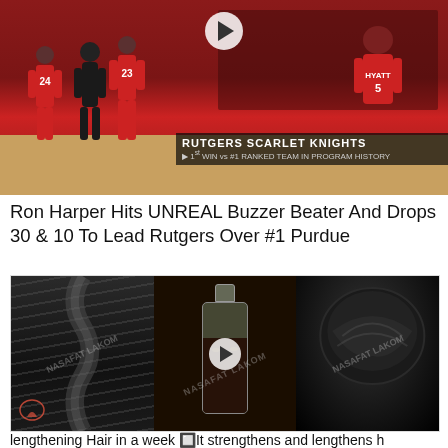[Figure (photo): Basketball game screenshot showing Rutgers Scarlet Knights players on court, with overlay text 'RUTGERS SCARLET KNIGHTS' and '1st WIN vs #1 RANKED TEAM IN PROGRAM HISTORY'. A play button is visible at the top center.]
Ron Harper Hits UNREAL Buzzer Beater And Drops 30 & 10 To Lead Rutgers Over #1 Purdue
[Figure (photo): Three-panel image showing hair care content: left panel shows a woman with a long braided hairstyle, center panel shows a glass bottle with dark liquid and a play button overlay with watermark text, right panel shows a woman with an elegant bun hairstyle. Watermark reads 'NASAFAT LAKOM'.]
lengthening Hair in a week 🔲It strengthens and lengthens h